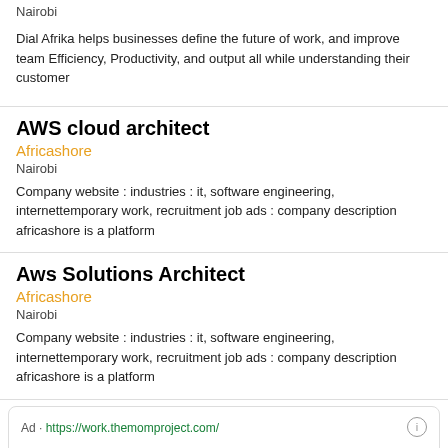Nairobi
Dial Afrika helps businesses define the future of work, and improve team Efficiency, Productivity, and output all while understanding their customer
AWS cloud architect
Africashore
Nairobi
Company website : industries : it, software engineering, internettemporary work, recruitment job ads : company description africashore is a platform
Aws Solutions Architect
Africashore
Nairobi
Company website : industries : it, software engineering, internettemporary work, recruitment job ads : company description africashore is a platform
Ad · https://work.themomproject.com/
Computer Programmers For Hire - Find Software Engineer Talent
Sign Up Today To See Why Top Companies Choose The Mom Project For Their Hiring Needs. Hire & Retain Top Tech Talent